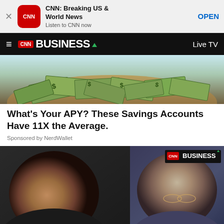[Figure (screenshot): App store banner for CNN: Breaking US & World News app with red rounded square icon, title, subtitle 'Listen to CNN now', and OPEN button]
CNN BUSINESS  Live TV
[Figure (photo): Pile of US dollar bills/money spread out on a surface]
What's Your APY? These Savings Accounts Have 11X the Average.
Sponsored by NerdWallet
[Figure (photo): Two men shown in split photos. Left: man looking forward with dark background. Right: older man with glasses looking down, CNN Business logo visible.]